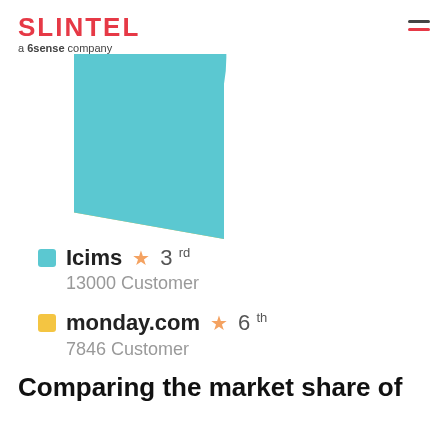SLINTEL a 6sense company
[Figure (pie-chart): Market share pie chart (partial view)]
Icims ★ 3rd — 13000 Customer
monday.com ★ 6th — 7846 Customer
Comparing the market share of